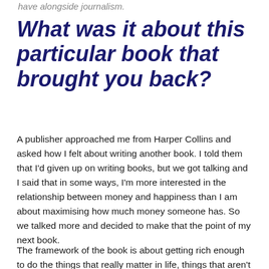have alongside journalism.
What was it about this particular book that brought you back?
A publisher approached me from Harper Collins and asked how I felt about writing another book. I told them that I'd given up on writing books, but we got talking and I said that in some ways, I'm more interested in the relationship between money and happiness than I am about maximising how much money someone has. So we talked more and decided to make that the point of my next book.
The framework of the book is about getting rich enough to do the things that really matter in life, things that aren't